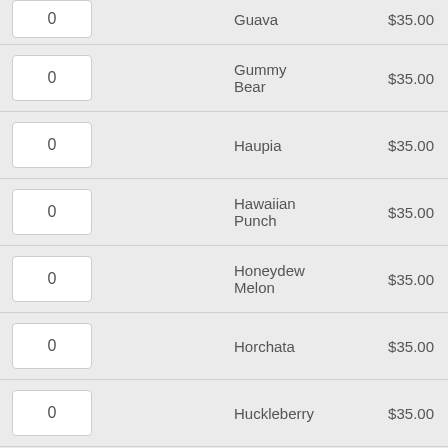| Qty |  | Name | Price |
| --- | --- | --- | --- |
| 0 |  | Guava | $35.00 |
| 0 |  | Gummy Bear | $35.00 |
| 0 |  | Haupia | $35.00 |
| 0 |  | Hawaiian Punch | $35.00 |
| 0 |  | Honeydew Melon | $35.00 |
| 0 |  | Horchata | $35.00 |
| 0 |  | Huckleberry | $35.00 |
| 0 |  | Kiwi | $35.00 |
| 0 |  | Kola | $35.00 |